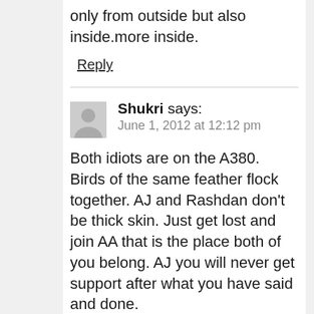only from outside but also inside.more inside.
Reply
Shukri says:
June 1, 2012 at 12:12 pm
Both idiots are on the A380. Birds of the same feather flock together. AJ and Rashdan don't be thick skin. Just get lost and join AA that is the place both of you belong. AJ you will never get support after what you have said and done.
It is better for both of you to join Shane